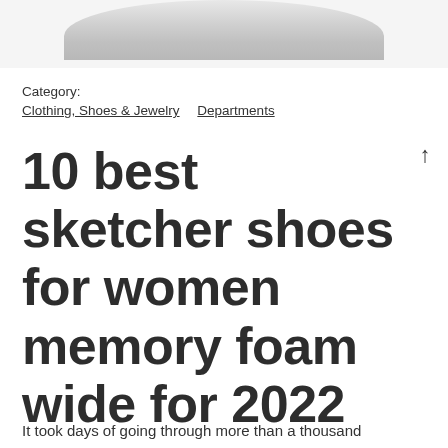[Figure (photo): Partial view of a shoe (top portion), white/gray sneaker on light gray background, cropped at bottom]
Category:
Clothing, Shoes & Jewelry   Departments
10 best sketcher shoes for women memory foam wide for 2022
It took days of going through more than a thousand customer reviews and conducting